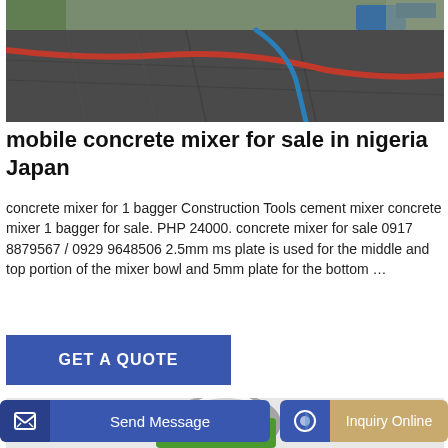[Figure (photo): Aerial view of a concrete construction site with red and blue hoses/pipes laid across wet concrete being poured on a foundation slab, trucks and equipment visible in background]
mobile concrete mixer for sale in nigeria Japan
concrete mixer for 1 bagger Construction Tools cement mixer concrete mixer 1 bagger for sale. PHP 24000. concrete mixer for sale 0917 8879567 / 0929 9648506 2.5mm ms plate is used for the middle and top portion of the mixer bowl and 5mm plate for the bottom …
[Figure (other): GET A QUOTE blue button]
[Figure (photo): Partial view of a green and grey concrete mixer machine against a light grey background]
[Figure (other): Send Message and Inquiry Online buttons at the bottom of the page]